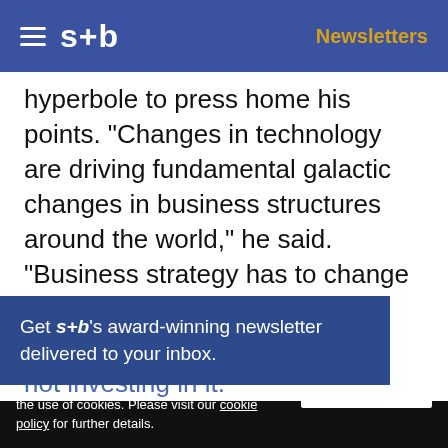s+b | Newsletters
hyperbole to press home his points. "Changes in technology are driving fundamental galactic changes in business structures around the world," he said. "Business strategy has to change with it. To do that, the C.I.O. needs to become a dispenser of hope, not of caution. The focus should be not on how much new technology should cost, but on how much
Get s+b's award-winning newsletter delivered to your inbox.
We use cookies to personalize content and to provide you with an improved user experience. By continuing to browse this site you consent to the use of cookies. Please visit our cookie policy for further details.